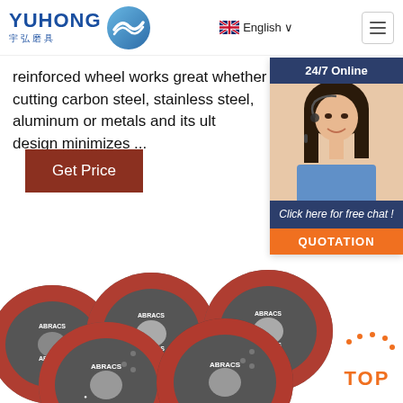YUHONG 宇弘磨具 | English
reinforced wheel works great whether cutting carbon steel, stainless steel, aluminum or metals and its ultra-thin design minimizes ...
Get Price
[Figure (photo): Customer service representative woman with headset, 24/7 Online chat widget with QUOTATION button]
[Figure (photo): Multiple ABRACS branded abrasive cutting discs arranged in a pile]